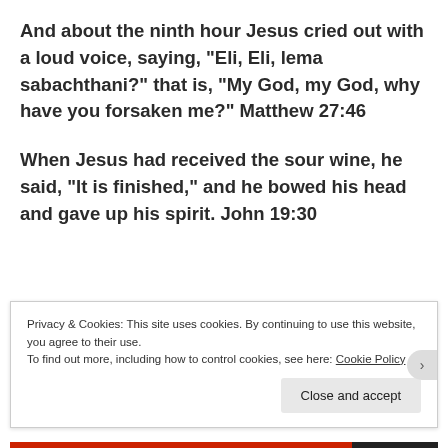And about the ninth hour Jesus cried out with a loud voice, saying, “Eli, Eli, lema sabachthani?” that is, “My God, my God, why have you forsaken me?” Matthew 27:46
When Jesus had received the sour wine, he said, “It is finished,” and he bowed his head and gave up his spirit. John 19:30
Privacy & Cookies: This site uses cookies. By continuing to use this website, you agree to their use.
To find out more, including how to control cookies, see here: Cookie Policy
Close and accept